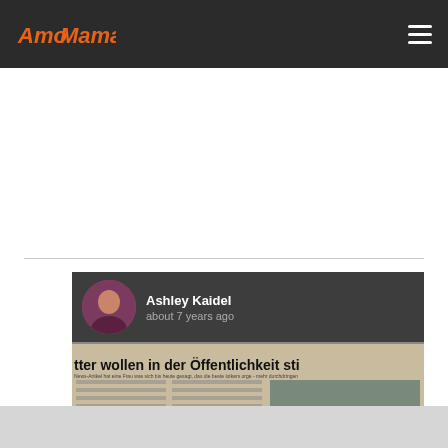AmoMama
[Figure (photo): AmoMama website screenshot showing article by Ashley Kaidel about 7 years ago. The article image shows a German newspaper with headline 'tter wollen in der Öffentlichkeit sti'. An author avatar photo of Ashley Kaidel is shown in the top-left overlay of the article image.]
Ashley Kaidel
about 7 years ago
tter wollen in der Öffentlichkeit sti